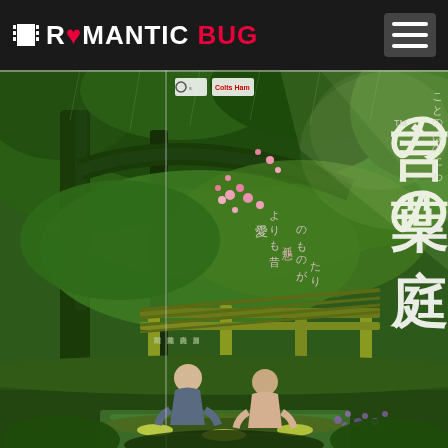ROMANTIC BUG
[Figure (illustration): Movie poster for 'Kotonoha no Niwa' (The Garden of Words) — a Japanese animated film. Lush green garden scene with large trees, rain, two figures sitting under a wooden pergola/pavilion. Japanese title text overlaid in large characters. Pink flowers visible in foliage. Various Japanese text blocks including credits and taglines on left side.]